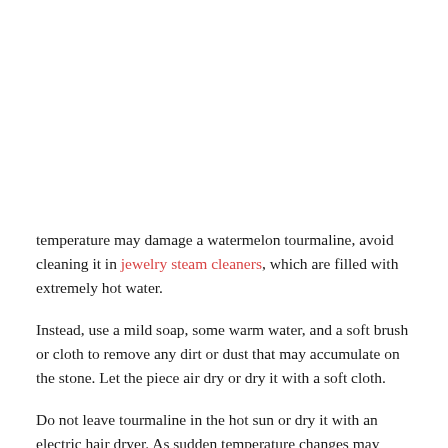temperature may damage a watermelon tourmaline, avoid cleaning it in jewelry steam cleaners, which are filled with extremely hot water.
Instead, use a mild soap, some warm water, and a soft brush or cloth to remove any dirt or dust that may accumulate on the stone. Let the piece air dry or dry it with a soft cloth.
Do not leave tourmaline in the hot sun or dry it with an electric hair dryer. As sudden temperature changes may damage the stone.